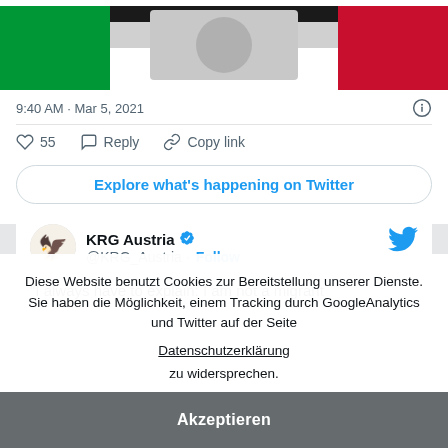[Figure (illustration): Partial view of a flag with green, black, white, and red colors — appears to be the Kurdish flag, cropped at the top of the card]
9:40 AM · Mar 5, 2021
55  Reply  Copy link
Explore what's happening on Twitter
KRG Austria @KRG_Austria · Follow
"I always have to explain: I am not a migrant
Diese Website benutzt Cookies zur Bereitstellung unserer Dienste. Sie haben die Möglichkeit, einem Tracking durch GoogleAnalytics und Twitter auf der Seite
Datenschutzerklärung
zu widersprechen.
Akzeptieren